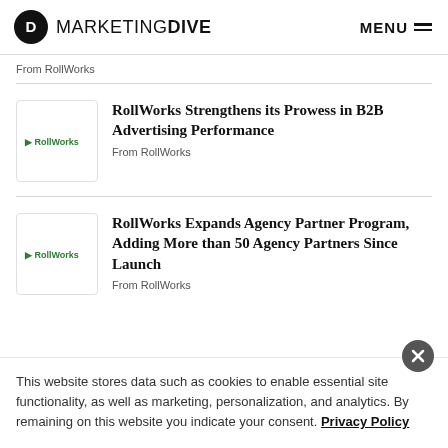Marketing Dive — MENU
From RollWorks
RollWorks Strengthens its Prowess in B2B Advertising Performance
From RollWorks
RollWorks Expands Agency Partner Program, Adding More than 50 Agency Partners Since Launch
From RollWorks
This website stores data such as cookies to enable essential site functionality, as well as marketing, personalization, and analytics. By remaining on this website you indicate your consent. Privacy Policy